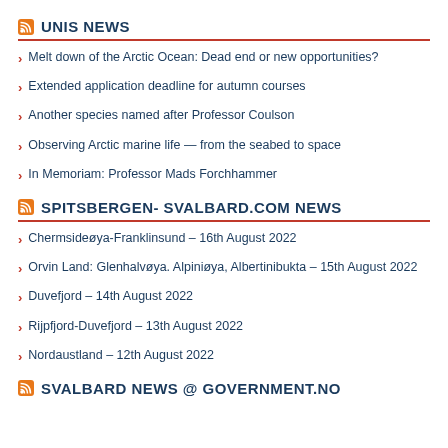UNIS NEWS
Melt down of the Arctic Ocean: Dead end or new opportunities?
Extended application deadline for autumn courses
Another species named after Professor Coulson
Observing Arctic marine life — from the seabed to space
In Memoriam: Professor Mads Forchhammer
SPITSBERGEN- SVALBARD.COM NEWS
Chermsideøya-Franklinsund – 16th August 2022
Orvin Land: Glenhalvøya. Alpiniøya, Albertinibukta – 15th August 2022
Duvefjord – 14th August 2022
Rijpfjord-Duvefjord – 13th August 2022
Nordaustland – 12th August 2022
SVALBARD NEWS @ GOVERNMENT.NO